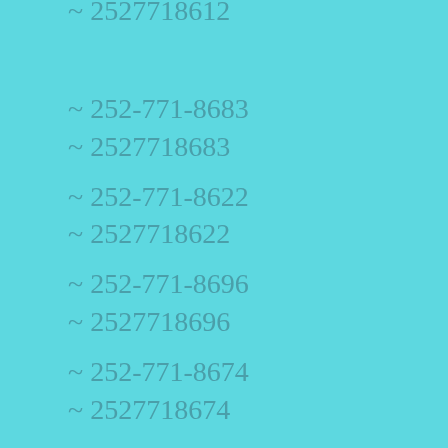~ 2527718612
~ 252-771-8683
~ 2527718683
~ 252-771-8622
~ 2527718622
~ 252-771-8696
~ 2527718696
~ 252-771-8674
~ 2527718674